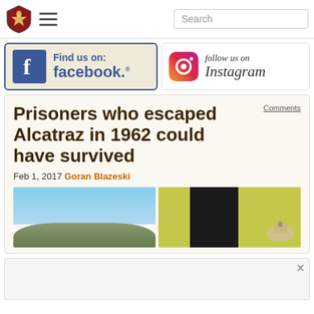Navigation bar with logo, hamburger menu, and search box
[Figure (logo): Facebook Find us on: facebook. banner with blue border and beige background]
[Figure (logo): Follow us on Instagram banner with Instagram camera icon]
Prisoners who escaped Alcatraz in 1962 could have survived
Feb 1, 2017 Goran Blazeski
[Figure (photo): Two side-by-side photos: left shows Alcatraz island with blue sky, right shows a green prison cell wall with a sink]
[Figure (other): Advertisement close button area]